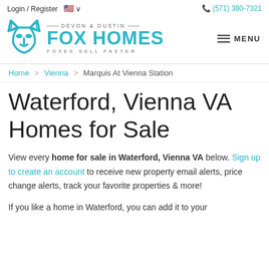Login / Register   🇺🇸 ∨   📞 (571) 380-7321
[Figure (logo): Devon & Dustin Fox Homes logo with teal fox icon and text 'DEVON & DUSTIN FOX HOMES FOXES SELL FASTER' alongside a hamburger menu icon labeled MENU]
Home > Vienna > Marquis At Vienna Station
Waterford, Vienna VA Homes for Sale
View every home for sale in Waterford, Vienna VA below. Sign up to create an account to receive new property email alerts, price change alerts, track your favorite properties & more!
If you like a home in Waterford, you can add it to your